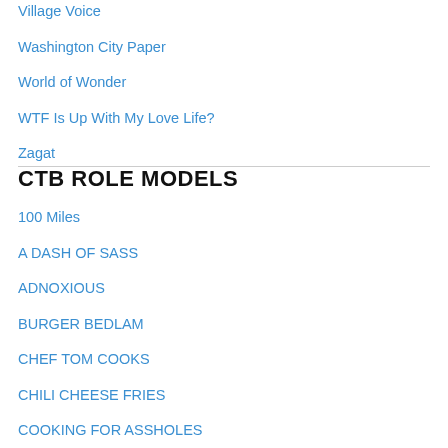Village Voice
Washington City Paper
World of Wonder
WTF Is Up With My Love Life?
Zagat
CTB ROLE MODELS
100 Miles
A DASH OF SASS
ADNOXIOUS
BURGER BEDLAM
CHEF TOM COOKS
CHILI CHEESE FRIES
COOKING FOR ASSHOLES
COUPLA GUYS WHO EAT IN BROOKLYN
CREATIVE LOAFING – CHARLOTTE
EVERY GIRL'S SECRET
FLAVORED DELIGHTS